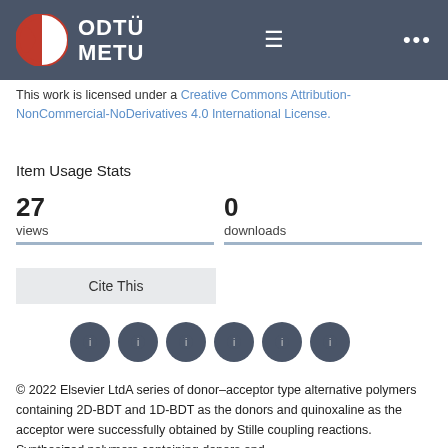ODTÜ METU
This work is licensed under a Creative Commons Attribution-NonCommercial-NoDerivatives 4.0 International License.
Item Usage Stats
27 views
0 downloads
Cite This
[Figure (other): Row of six dark circular social sharing icon buttons]
© 2022 Elsevier LtdA series of donor–acceptor type alternative polymers containing 2D-BDT and 1D-BDT as the donors and quinoxaline as the acceptor were successfully obtained by Stille coupling reactions. Synthesized polymers containing donors and...